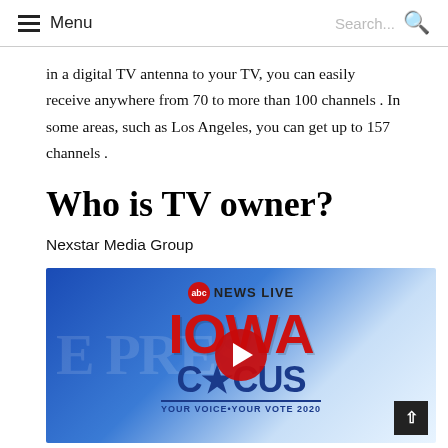Menu | Search...
in a digital TV antenna to your TV, you can easily receive anywhere from 70 to more than 100 channels . In some areas, such as Los Angeles, you can get up to 157 channels .
Who is TV owner?
Nexstar Media Group
[Figure (screenshot): ABC News Live Iowa Caucus - Your Voice Your Vote 2020 video thumbnail with YouTube play button]